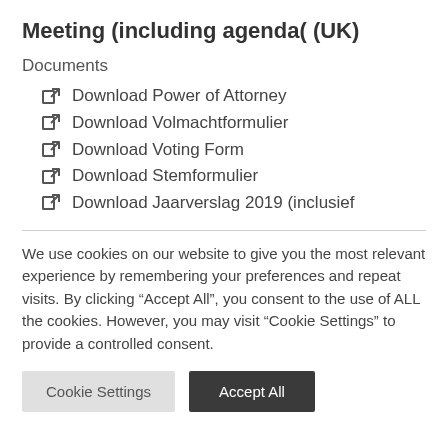Meeting (including agenda( (UK)
Documents
Download Power of Attorney
Download Volmachtformulier
Download Voting Form
Download Stemformulier
Download Jaarverslag 2019 (inclusief
We use cookies on our website to give you the most relevant experience by remembering your preferences and repeat visits. By clicking “Accept All”, you consent to the use of ALL the cookies. However, you may visit “Cookie Settings” to provide a controlled consent.
Cookie Settings | Accept All